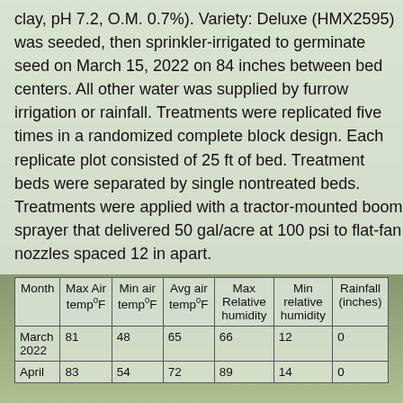clay, pH 7.2, O.M. 0.7%). Variety: Deluxe (HMX2595) was seeded, then sprinkler-irrigated to germinate seed on March 15, 2022 on 84 inches between bed centers. All other water was supplied by furrow irrigation or rainfall. Treatments were replicated five times in a randomized complete block design. Each replicate plot consisted of 25 ft of bed. Treatment beds were separated by single nontreated beds. Treatments were applied with a tractor-mounted boom sprayer that delivered 50 gal/acre at 100 psi to flat-fan nozzles spaced 12 in apart.
| Month | Max Air temp°F | Min air temp°F | Avg air temp°F | Max Relative humidity | Min relative humidity | Rainfall (inches) |
| --- | --- | --- | --- | --- | --- | --- |
| March 2022 | 81 | 48 | 65 | 66 | 12 | 0 |
| April | 83 | 54 | 72 | 89 | 14 | 0 |